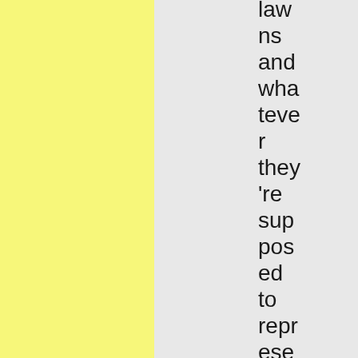laws and whatever they're supposed to represent, emotionally, to the audience.